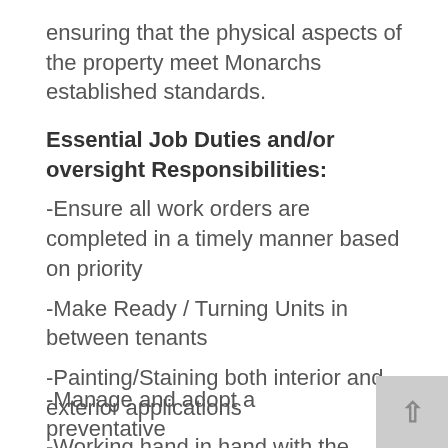ensuring that the physical aspects of the property meet Monarchs established standards.
Essential Job Duties and/or oversight Responsibilities:
-Ensure all work orders are completed in a timely manner based on priority
-Make Ready / Turning Units in between tenants
-Painting/Staining both interior and exterior applications
-Working hand in hand with the Property Manager on a monthly budget review
-Manage and adopt a preventative